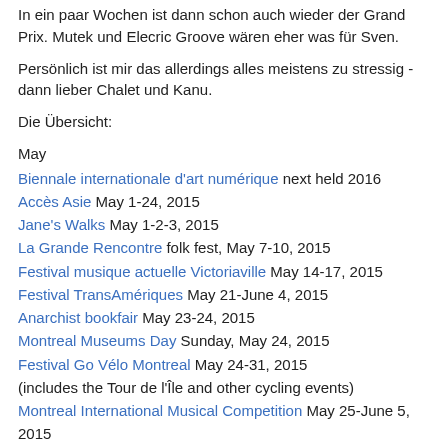In ein paar Wochen ist dann schon auch wieder der Grand Prix. Mutek und Elecric Groove wären eher was für Sven.
Persönlich ist mir das allerdings alles meistens zu stressig - dann lieber Chalet und Kanu.
Die Übersicht:
May
Biennale internationale d'art numérique next held 2016
Accès Asie May 1-24, 2015
Jane's Walks May 1-2-3, 2015
La Grande Rencontre folk fest, May 7-10, 2015
Festival musique actuelle Victoriaville May 14-17, 2015
Festival TransAmériques May 21-June 4, 2015
Anarchist bookfair May 23-24, 2015
Montreal Museums Day Sunday, May 24, 2015
Festival Go Vélo Montreal May 24-31, 2015
(includes the Tour de l'Île and other cycling events)
Montreal International Musical Competition May 25-June 5, 2015
Festival des Arts Vivants OFFTA, May 27-June 4, 2015